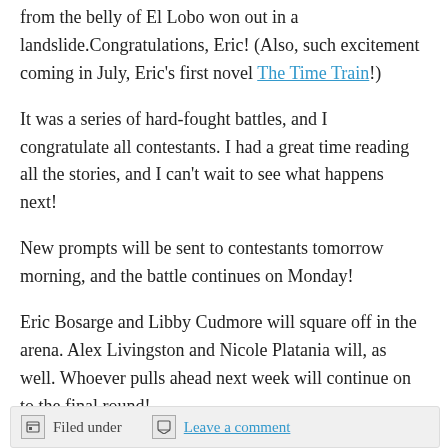from the belly of El Lobo won out in a landslide.Congratulations, Eric! (Also, such excitement coming in July, Eric's first novel The Time Train!)
It was a series of hard-fought battles, and I congratulate all contestants. I had a great time reading all the stories, and I can't wait to see what happens next!
New prompts will be sent to contestants tomorrow morning, and the battle continues on Monday!
Eric Bosarge and Libby Cudmore will square off in the arena. Alex Livingston and Nicole Platania will, as well. Whoever pulls ahead next week will continue on to the final round!
Filed under   Leave a comment